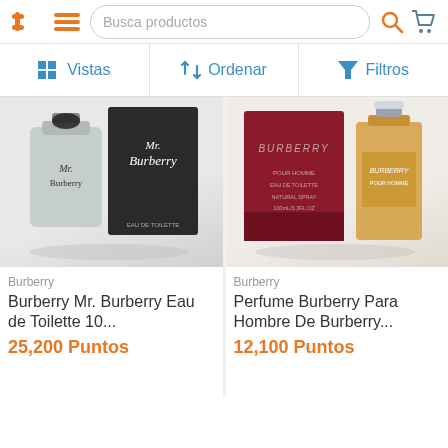Busca productos
Vistas | Ordenar | Filtros
[Figure (photo): Mr. Burberry Eau de Toilette bottle and box in silver/black packaging]
Burberry
Burberry Mr. Burberry Eau de Toilette 10...
25,200 Puntos
[Figure (photo): Burberry Pour Homme perfume bottle and dark red box]
Burberry
Perfume Burberry Para Hombre De Burberry...
12,100 Puntos